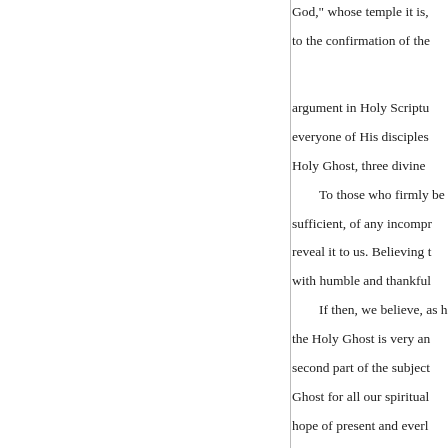God,” whose temple it is, to the confirmation of the
argument in Holy Scriptu… everyone of His disciples… Holy Ghost, three divine… To those who firmly be… sufficient, of any incompr… reveal it to us. Believing t… with humble and thankful… If then, we believe, as h… the Holy Ghost is very an… second part of the subject… Ghost for all our spiritual… hope of present and everl… It is indeed true from th… the two other Persons of t… Holy Ghost: but we are di… as the personal acts of eac… a different relationship, an…